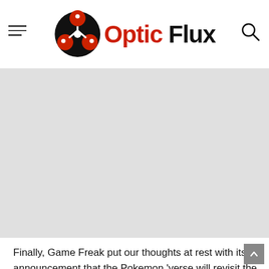Optic Flux
[Figure (photo): Large gray placeholder image area for article illustration]
Finally, Game Freak put our thoughts at rest with its announcement that the Pokemon 'verse will revisit the Sinnoh region. The news popped out during a special 26th anniversary